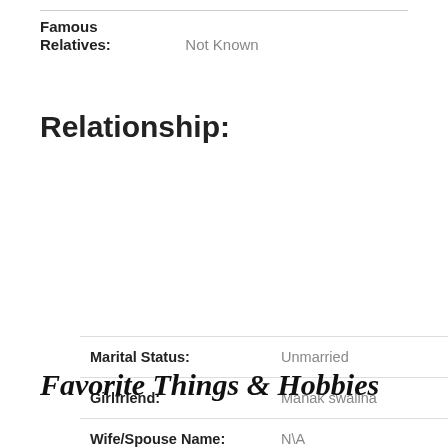Famous Relatives: Not Known
Relationship:
| Field | Value |
| --- | --- |
| Marital Status: | Unmarried |
| Girlfriend: | Manak swalina |
| Wife/Spouse Name: | N\A |
| Daughter: | N\A |
| Son: | N\A |
Favorite Things & Hobbies